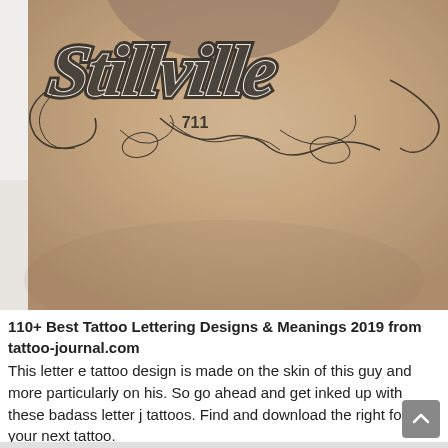[Figure (photo): Close-up photo of a person's upper back/shoulder area with a large decorative script tattoo in black ink with white highlights. The tattoo appears to be cursive lettering with ornate flourishes and swirls. The number 711 is visible within the tattoo design.]
110+ Best Tattoo Lettering Designs & Meanings 2019 from tattoo-journal.com
This letter e tattoo design is made on the skin of this guy and more particularly on his. So go ahead and get inked up with these badass letter j tattoos. Find and download the right font for your next tattoo.